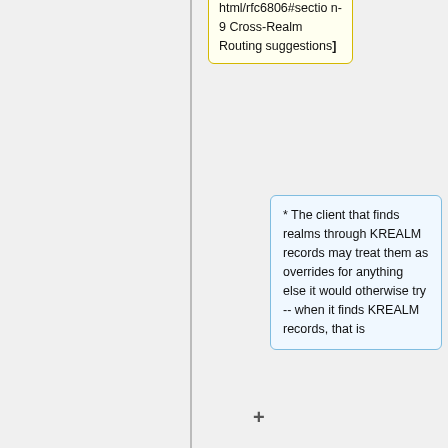html/rfc6806#section-9 Cross-Realm Routing suggestions]
* The client that finds realms through KREALM records may treat them as overrides for anything else it would otherwise try -- when it finds KREALM records, that is
* The client that looks for KREALM records may (at some point in the future) decide to discard other methods, perhaps exempting the the client's login realm